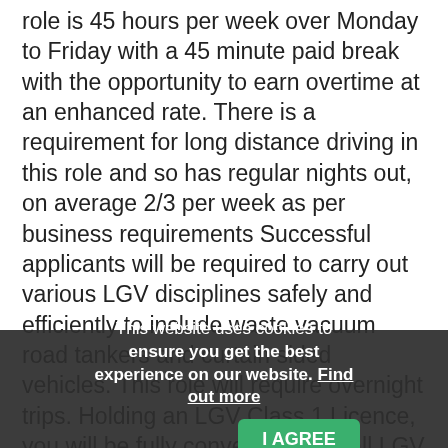role is 45 hours per week over Monday to Friday with a 45 minute paid break with the opportunity to earn overtime at an enhanced rate. There is a requirement for long distance driving in this role and so has regular nights out, on average 2/3 per week as per business requirements Successful applicants will be required to carry out various LGV disciplines safely and efficiently to include waste vacuum road tankers and curtain sided vehicles. This role will require overnight trips. Holding an LGV Class 1 Licence, you will be fully conversant with all LGV driving regulations and legislation and must ensure compliance with all company policies, procedures and working practices. Duties to include: Overnight trips... vehicle. Completing daily vehicle check. Respond courteously and effectively to all reasonable customer demands.
This website uses cookies to ensure you get the best experience on our website. Find out more | I AGREE